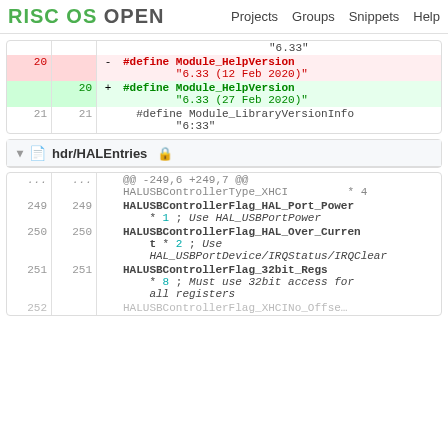RISC OS OPEN   Projects   Groups   Snippets   Help
| old | new |  | code |
| --- | --- | --- | --- |
|  |  |  | "6.33" |
| 20 |  | - | #define Module_HelpVersion
"6.33 (12 Feb 2020)" |
|  | 20 | + | #define Module_HelpVersion
"6.33 (27 Feb 2020)" |
| 21 | 21 |  | #define Module_LibraryVersionInfo
"6:33" |
hdr/HALEntries
| old | new |  | code |
| --- | --- | --- | --- |
| ... | ... |  | @@ -249,6 +249,7 @@
HALUSBControllerType_XHCI        * 4 |
| 249 | 249 |  | HALUSBControllerFlag_HAL_Port_Power
    * 1 ; Use HAL_USBPortPower |
| 250 | 250 |  | HALUSBControllerFlag_HAL_Over_Current
    t * 2 ; Use
    HAL_USBPortDevice/IRQStatus/IRQClear |
| 251 | 251 |  | HALUSBControllerFlag_32bit_Regs
    * 8 ; Must use 32bit access for
    all registers |